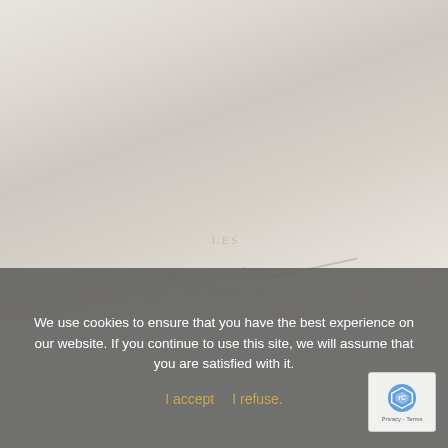[Figure (photo): Light grey/beige blurred background photo of a landscape or building, very washed out and pale. In the lower portion, a partially visible logo for 'Relais & Châteaux' / 'Les Relais du Monde' appears faintly. A diagonal line is visible near the bottom right of the photo area.]
We use cookies to ensure that you have the best experience on our website. If you continue to use this site, we will assume that you are satisfied with it.
I accept   I refuse.